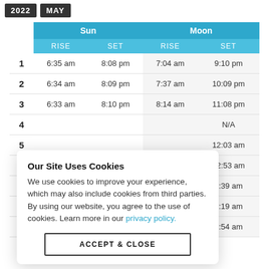2022  MAY
|  | Sun RISE | Sun SET | Moon RISE | Moon SET |
| --- | --- | --- | --- | --- |
| 1 | 6:35 am | 8:08 pm | 7:04 am | 9:10 pm |
| 2 | 6:34 am | 8:09 pm | 7:37 am | 10:09 pm |
| 3 | 6:33 am | 8:10 pm | 8:14 am | 11:08 pm |
| 4 |  |  |  | N/A |
| 5 |  |  |  | 12:03 am |
| 6 |  |  |  | 12:53 am |
| 7 |  |  |  | 1:39 am |
| 8 |  |  |  | 2:19 am |
| 9 | 6:27 am | 8:14 pm | 1:32 pm | 2:54 am |
Our Site Uses Cookies
We use cookies to improve your experience, which may also include cookies from third parties. By using our website, you agree to the use of cookies. Learn more in our privacy policy.
ACCEPT & CLOSE